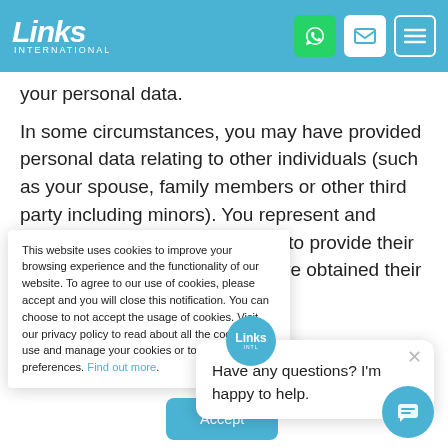Links International
your personal data.
In some circumstances, you may have provided personal data relating to other individuals (such as your spouse, family members or other third party including minors). You represent and warrant that you are authorised to provide their personal data to us and you have obtained their
This website uses cookies to improve your browsing experience and the functionality of our website. To agree to our use of cookies, please accept and you will close this notification. You can choose to not accept the usage of cookies. Visit our privacy policy to read about all the cookies we use and manage your cookies or to change your preferences. Find out more.
Have any questions? I'm happy to help.
Accept